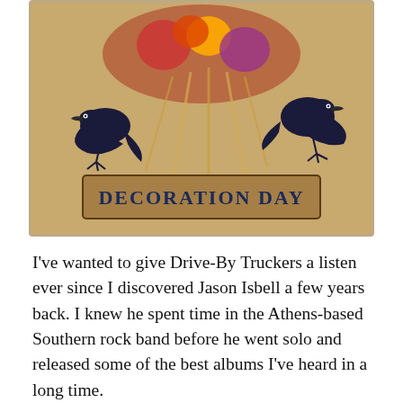[Figure (illustration): Album cover art for 'Decoration Day' by Drive-By Truckers, showing two black birds/crows with flowers on a tan/golden textured background, with the text 'DECORATION DAY' at the bottom.]
I've wanted to give Drive-By Truckers a listen ever since I discovered Jason Isbell a few years back. I knew he spent time in the Athens-based Southern rock band before he went solo and released some of the best albums I've heard in a long time.
2003's Decoration Day, the Truckers' fourth studio album, was Isbell's first with the band. He replaced a departing guitarist and eventually became one of the principal songwriters. His tenure was short, however, because his drug and alcohol abuse made him impossible, and forced the band to boot him a few years later. Fortunately, he got